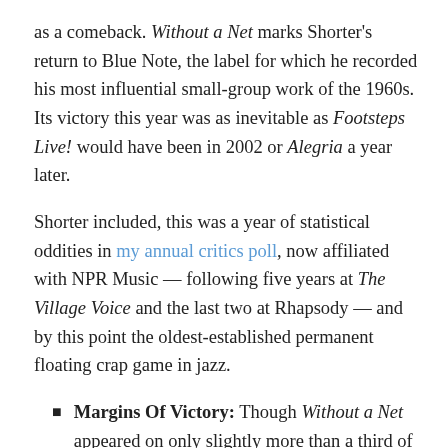as a comeback. Without a Net marks Shorter's return to Blue Note, the label for which he recorded his most influential small-group work of the 1960s. Its victory this year was as inevitable as Footsteps Live! would have been in 2002 or Alegria a year later.
Shorter included, this was a year of statistical oddities in my annual critics poll, now affiliated with NPR Music — following five years at The Village Voice and the last two at Rhapsody — and by this point the oldest-established permanent floating crap game in jazz.
Margins Of Victory: Though Without a Net appeared on only slightly more than a third of this year's 136 ballots (so much for consensus), its margin over Craig Taborn's Chants, the runner-up, was 194.5 points. But